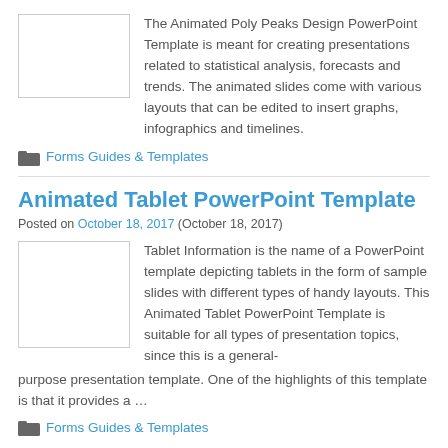[Figure (photo): Thumbnail image placeholder for Animated Poly Peaks Design PowerPoint Template]
The Animated Poly Peaks Design PowerPoint Template is meant for creating presentations related to statistical analysis, forecasts and trends. The animated slides come with various layouts that can be edited to insert graphs, infographics and timelines.
Forms Guides & Templates
Animated Tablet PowerPoint Template
Posted on October 18, 2017 (October 18, 2017)
[Figure (photo): Thumbnail image placeholder for Animated Tablet PowerPoint Template]
Tablet Information is the name of a PowerPoint template depicting tablets in the form of sample slides with different types of handy layouts. This Animated Tablet PowerPoint Template is suitable for all types of presentation topics, since this is a general-purpose presentation template. One of the highlights of this template is that it provides a …
Forms Guides & Templates